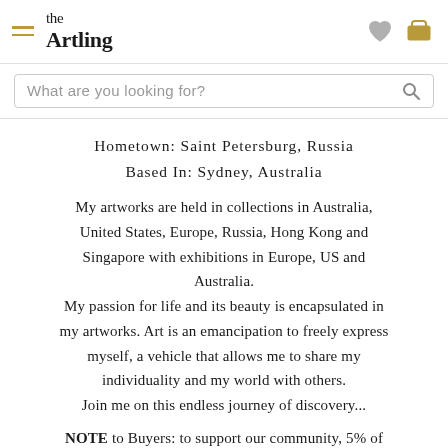the Artling
What are you looking for?
Hometown: Saint Petersburg, Russia
Based In: Sydney, Australia
My artworks are held in collections in Australia, United States, Europe, Russia, Hong Kong and Singapore with exhibitions in Europe, US and Australia.
My passion for life and its beauty is encapsulated in my artworks. Art is an emancipation to freely express myself, a vehicle that allows me to share my individuality and my world with others.
Join me on this endless journey of discovery...
NOTE to Buyers: to support our community, 5% of all Artem Bryl's commissions from each sale will be